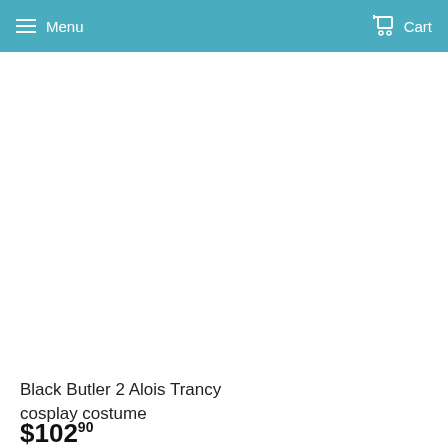Menu   Cart
[Figure (photo): Product image area (blank/white) for Black Butler 2 Alois Trancy cosplay costume]
Black Butler 2 Alois Trancy cosplay costume
$102.90